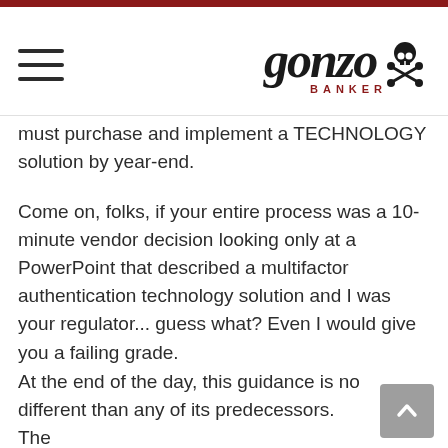Gonzo Banker
must purchase and implement a TECHNOLOGY solution by year-end.
Come on, folks, if your entire process was a 10-minute vendor decision looking only at a PowerPoint that described a multifactor authentication technology solution and I was your regulator... guess what? Even I would give you a failing grade.
At the end of the day, this guidance is no different than any of its predecessors. The guidance wants banks to focus on the things